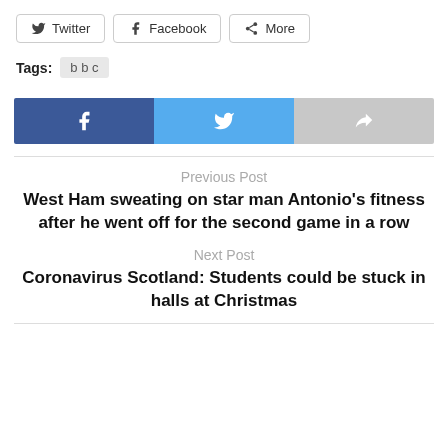[Figure (screenshot): Social share buttons row: Twitter, Facebook, More]
Tags: bbc
[Figure (screenshot): Large social share buttons: Facebook (blue), Twitter (light blue), More (grey)]
Previous Post
West Ham sweating on star man Antonio's fitness after he went off for the second game in a row
Next Post
Coronavirus Scotland: Students could be stuck in halls at Christmas